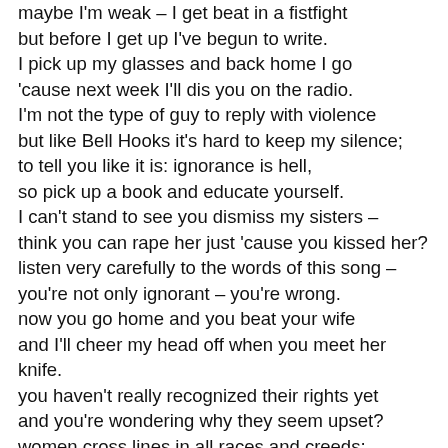maybe I'm weak – I get beat in a fistfight
but before I get up I've begun to write.
I pick up my glasses and back home I go
'cause next week I'll dis you on the radio.
I'm not the type of guy to reply with violence
but like Bell Hooks it's hard to keep my silence;
to tell you like it is: ignorance is hell,
so pick up a book and educate yourself.
I can't stand to see you dismiss my sisters –
think you can rape her just 'cause you kissed her?
listen very carefully to the words of this song –
you're not only ignorant – you're wrong.
now you go home and you beat your wife
and I'll cheer my head off when you meet her knife.
you haven't really recognized their rights yet
and you're wondering why they seem upset?
women cross lines in all races and creeds;